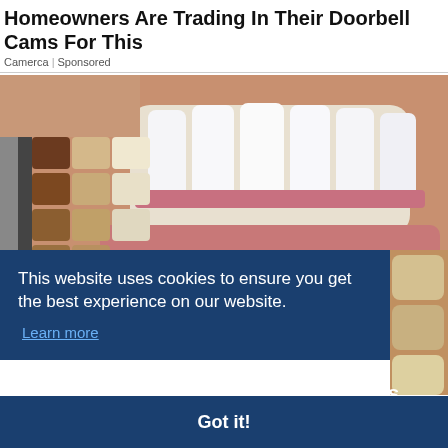Homeowners Are Trading In Their Doorbell Cams For This
Camerca | Sponsored
[Figure (photo): Close-up photo of a smiling person showing white teeth, with a dental tooth shade guide held up alongside for color comparison. The shade guide shows multiple tooth-colored samples in varying shades from white to brown/dark.]
This website uses cookies to ensure you get the best experience on our website.
Learn more
Got it!